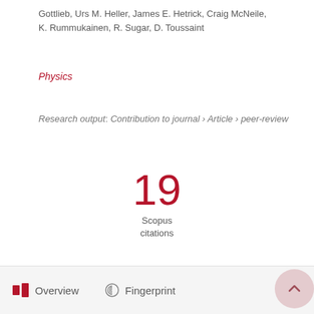Gottlieb, Urs M. Heller, James E. Hetrick, Craig McNeile, K. Rummukainen, R. Sugar, D. Toussaint
Physics
Research output: Contribution to journal › Article › peer-review
19
Scopus
citations
Overview   Fingerprint